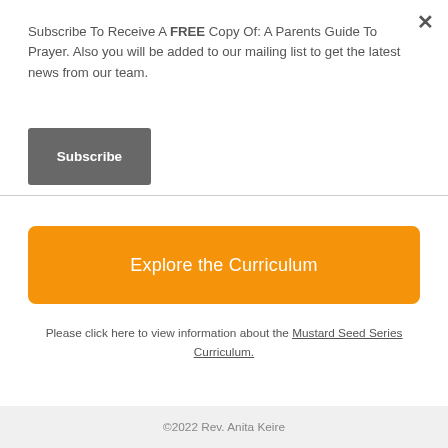Subscribe To Receive A FREE Copy Of: A Parents Guide To Prayer. Also you will be added to our mailing list to get the latest news from our team.
Subscribe
Explore the Curriculum
Please click here to view information about the Mustard Seed Series Curriculum.
©2022 Rev. Anita Keire